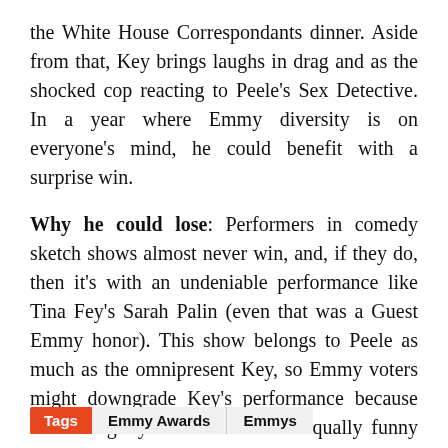the White House Correspondants dinner. Aside from that, Key brings laughs in drag and as the shocked cop reacting to Peele's Sex Detective. In a year where Emmy diversity is on everyone's mind, he could benefit with a surprise win.
Why he could lose: Performers in comedy sketch shows almost never win, and, if they do, then it's with an undeniable performance like Tina Fey's Sarah Palin (even that was a Guest Emmy honor). This show belongs to Peele as much as the omnipresent Key, so Emmy voters might downgrade Key's performance because he's so tightly connected to the equally funny Peele.
Tags  Emmy Awards  Emmys